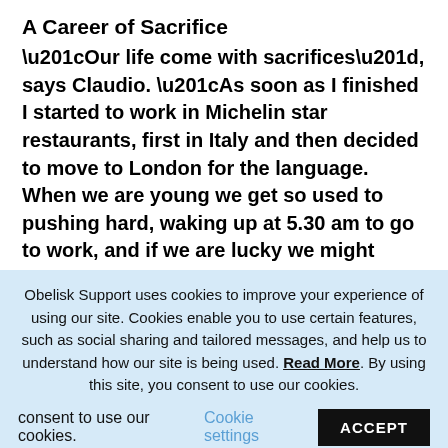A Career of Sacrifice
“Our life come with sacrifices”, says Claudio. “As soon as I finished I started to work in Michelin star restaurants, first in Italy and then decided to move to London for the language. When we are young we get so used to pushing hard, waking up at 5.30 am to go to work, and if we are lucky we might catch the last Tube home. Go home, shower, eat something watching some TV and sleep for few hours; this is our normal. We spend 90 to 100 hours per week in the kitchen leaving friends and family behind. Ask a chef how
Obelisk Support uses cookies to improve your experience of using our site. Cookies enable you to use certain features, such as social sharing and tailored messages, and help us to understand how our site is being used. Read More. By using this site, you consent to use our cookies. Cookie settings ACCEPT